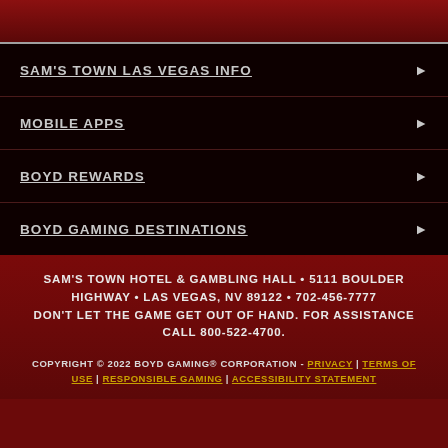SAM'S TOWN LAS VEGAS INFO
MOBILE APPS
BOYD REWARDS
BOYD GAMING DESTINATIONS
SAM'S TOWN HOTEL & GAMBLING HALL • 5111 BOULDER HIGHWAY • LAS VEGAS, NV 89122 • 702-456-7777 DON'T LET THE GAME GET OUT OF HAND. FOR ASSISTANCE CALL 800-522-4700.
COPYRIGHT © 2022 BOYD GAMING® CORPORATION - PRIVACY | TERMS OF USE | RESPONSIBLE GAMING | ACCESSIBILITY STATEMENT